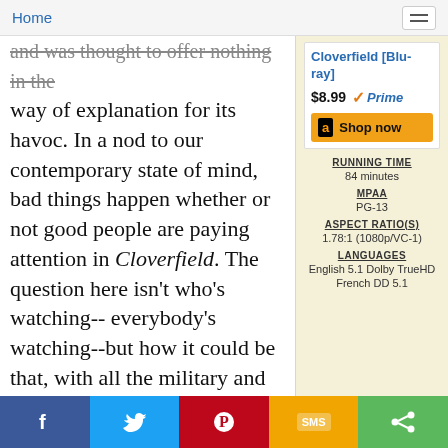Home
and was thought to offer nothing in the way of explanation for its havoc. In a nod to our contemporary state of mind, bad things happen whether or not good people are paying attention in Cloverfield. The question here isn't who's watching--everybody's watching--but how it could be that, with all the military and technological power at our disposal, the world is still arbitrary and subject to entropy. The better question may pertain to how 2008 mirrors 1958--how a film that could've found itself in good company fifty years ago has been updated (but only slightly) to fit a culture haunted by 9/11 and the rude intrusion of a
[Figure (other): Amazon product sidebar: Cloverfield Blu-ray for $8.99 with Prime, Shop now button, and metadata: Running Time 84 minutes, MPAA PG-13, Aspect Ratio(s) 1.78:1 (1080p/VC-1), Languages English 5.1 Dolby TrueHD, French DD 5.1]
Facebook Twitter Pinterest SMS Share